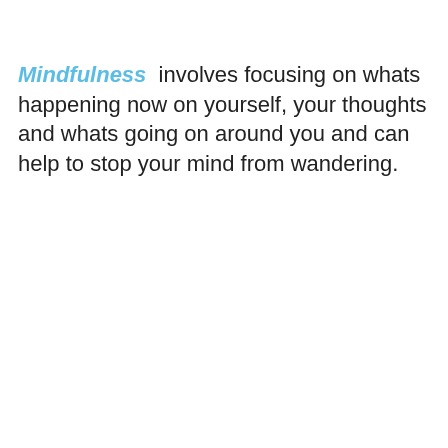Mindfulness involves focusing on whats happening now on yourself, your thoughts and whats going on around you and can help to stop your mind from wandering.